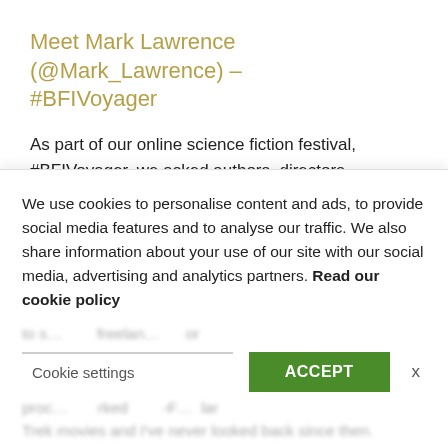Meet Mark Lawrence (@Mark_Lawrence) – #BFIVoyager
As part of our online science fiction festival, #BFIVoyager, we asked authors, directors, bloggers and experts of all different kinds, to share their thoughts on sci-fi. Here is author and scientist Mark Lawrence talking about what sparked his love of sci-fi… Tell us about yourself I'm a research scientist… Read More
We use cookies to personalise content and ads, to provide social media features and to analyse our traffic. We also share information about your use of our site with our social media, advertising and analytics partners. Read our cookie policy